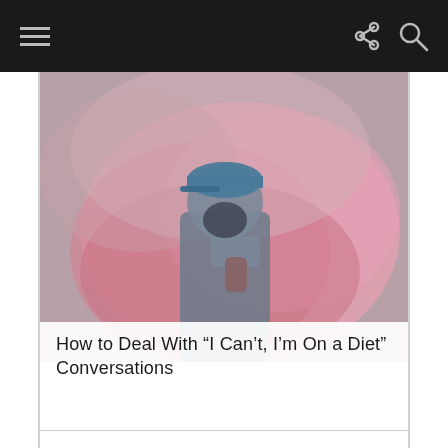Menu navigation bar with hamburger icon, share icon, and search icon
[Figure (photo): A person wearing a blue cap holding a pink/red smoke flare, surrounded by pink smoke clouds against a muted background.]
How to Deal With “I Can’t, I’m On a Diet” Conversations